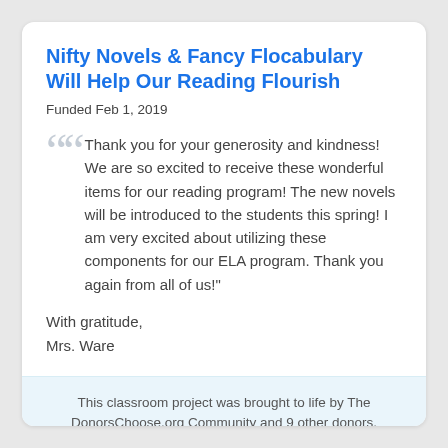Nifty Novels & Fancy Flocabulary Will Help Our Reading Flourish
Funded Feb 1, 2019
Thank you for your generosity and kindness! We are so excited to receive these wonderful items for our reading program! The new novels will be introduced to the students this spring! I am very excited about utilizing these components for our ELA program. Thank you again from all of us!
With gratitude,
Mrs. Ware
This classroom project was brought to life by The DonorsChoose.org Community and 9 other donors.